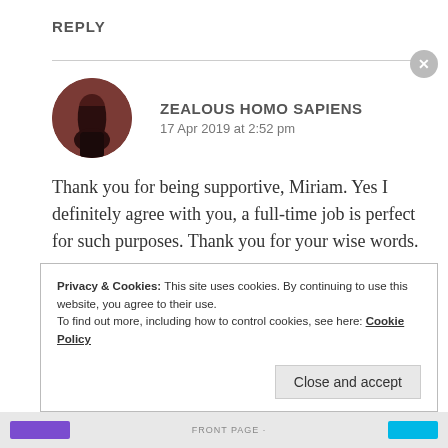REPLY
ZEALOUS HOMO SAPIENS
17 Apr 2019 at 2:52 pm
Thank you for being supportive, Miriam. Yes I definitely agree with you, a full-time job is perfect for such purposes. Thank you for your wise words.
Privacy & Cookies: This site uses cookies. By continuing to use this website, you agree to their use.
To find out more, including how to control cookies, see here: Cookie Policy
Close and accept